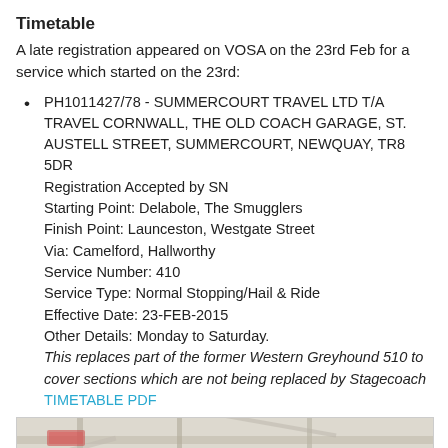Timetable
A late registration appeared on VOSA on the 23rd Feb for a service which started on the 23rd:
PH1011427/78 - SUMMERCOURT TRAVEL LTD T/A TRAVEL CORNWALL, THE OLD COACH GARAGE, ST. AUSTELL STREET, SUMMERCOURT, NEWQUAY, TR8 5DR
Registration Accepted by SN
Starting Point: Delabole, The Smugglers
Finish Point: Launceston, Westgate Street
Via: Camelford, Hallworthy
Service Number: 410
Service Type: Normal Stopping/Hail & Ride
Effective Date: 23-FEB-2015
Other Details: Monday to Saturday.
This replaces part of the former Western Greyhound 510 to cover sections which are not being replaced by Stagecoach
TIMETABLE PDF
[Figure (map): Partial map strip showing road map with route markings]